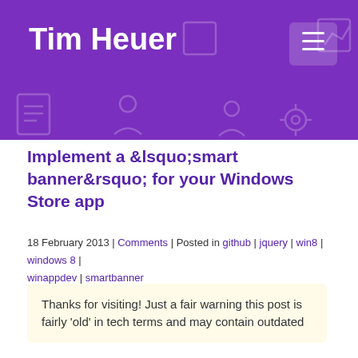Tim Heuer
Implement a &lsquo;smart banner&rsquo; for your Windows Store app
18 February 2013 | Comments | Posted in github | jquery | win8 | windows 8 | winappdev | smartbanner
Thanks for visiting! Just a fair warning this post is fairly 'old' in tech terms and may contain outdated
This website uses cookies to ensure you get the best experience on our website.
Learn more
Got it!
little e for n iOS 6 and called “Smart App Banners” in the developer